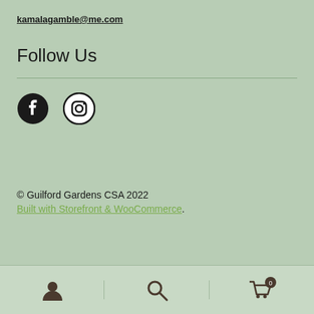kamalagamble@me.com
Follow Us
[Figure (illustration): Facebook and Instagram social media icons (circular black icons)]
© Guilford Gardens CSA 2022
Built with Storefront & WooCommerce.
[Figure (screenshot): Bottom navigation bar with user account icon, search icon, and shopping cart icon with badge showing 0]